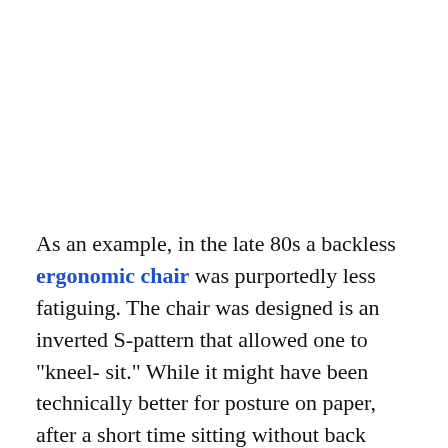As an example, in the late 80s a backless ergonomic chair was purportedly less fatiguing. The chair was designed is an inverted S-pattern that allowed one to "kneel-sit." While it might have been technically better for posture on paper, after a short time sitting without back support, many people found it more fatiguing than a traditional chair. Most of these chairs are now made with